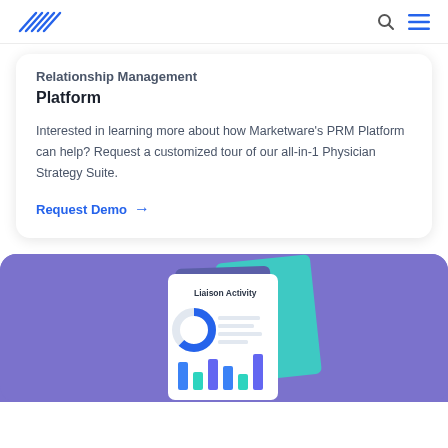Marketware logo and navigation icons
Relationship Management Platform
Interested in learning more about how Marketware's PRM Platform can help? Request a customized tour of our all-in-1 Physician Strategy Suite.
Request Demo →
[Figure (illustration): Purple background card showing a 'Liaison Activity' report illustration with a donut chart and bar chart graphic]